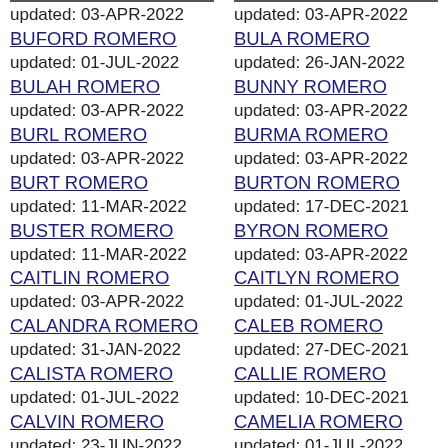updated: 03-APR-2022
BUFORD ROMERO
updated: 01-JUL-2022
BULAH ROMERO
updated: 03-APR-2022
BURL ROMERO
updated: 03-APR-2022
BURT ROMERO
updated: 11-MAR-2022
BUSTER ROMERO
updated: 11-MAR-2022
CAITLIN ROMERO
updated: 03-APR-2022
CALANDRA ROMERO
updated: 31-JAN-2022
CALISTA ROMERO
updated: 01-JUL-2022
CALVIN ROMERO
updated: 23-JUN-2022
updated: 03-APR-2022
BULA ROMERO
updated: 26-JAN-2022
BUNNY ROMERO
updated: 03-APR-2022
BURMA ROMERO
updated: 03-APR-2022
BURTON ROMERO
updated: 17-DEC-2021
BYRON ROMERO
updated: 03-APR-2022
CAITLYN ROMERO
updated: 01-JUL-2022
CALEB ROMERO
updated: 27-DEC-2021
CALLIE ROMERO
updated: 10-DEC-2021
CAMELIA ROMERO
updated: 01-JUL-2022